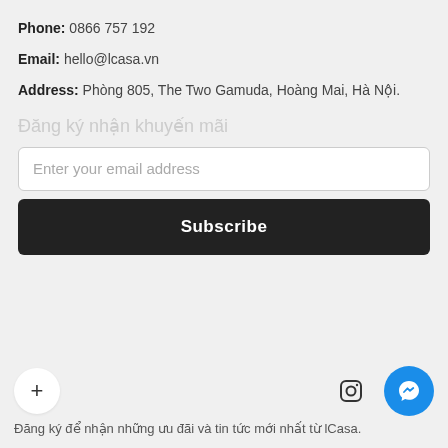Phone: 0866 757 192
Email: hello@lcasa.vn
Address: Phòng 805, The Two Gamuda, Hoàng Mai, Hà Nội.
Đăng ký nhận khuyến mãi
Enter your email address
Subscribe
Đăng ký để nhận những ưu đãi và tin tức mới nhất từ lCasa.